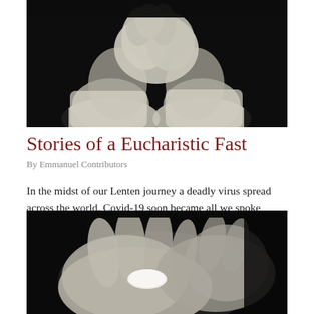[Figure (photo): Black and white close-up photograph of two clasped hands wearing white cloth sleeves, against a dark background.]
Stories of a Eucharistic Fast
By Emmanuel Contributors
In the midst of our Lenten journey a deadly virus spread across the world. Covid-19 soon became all we spoke about as it dramatically reshaped our daily lives. Out [...]
[Figure (photo): Black and white photograph of hands receiving or holding a communion host/wafer, against a dark background.]